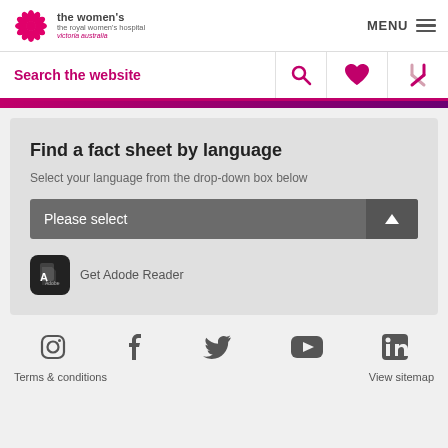[Figure (logo): The Women's - The Royal Women's Hospital, Victoria Australia logo with pink flower icon]
MENU
Search the website
Find a fact sheet by language
Select your language from the drop-down box below
Please select
[Figure (logo): Adobe Reader icon - black square with rounded corners and PDF/reader symbol]
Get Adode Reader
Terms & conditions   View sitemap